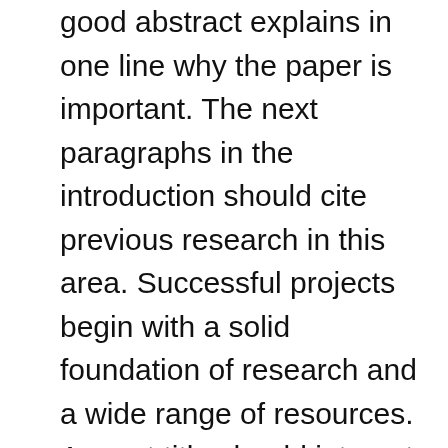good abstract explains in one line why the paper is important. The next paragraphs in the introduction should cite previous research in this area. Successful projects begin with a solid foundation of research and a wide range of resources. A great title should interest the reader enough to make him/her want to download your paper and actually read it. Importantly, in selecting the words, aim to. Narrow the focus of your paper. (try to make it as specific as possible). • choose a topic that not only interests you, but will also be interesting to the. As you write your question, think about the answer you want to receive. An opinion or value judgement isn't a good start for a strong research paper or project. Stay away from generic, too fuzzy statements and arguments. Use a particular subject. The paper should